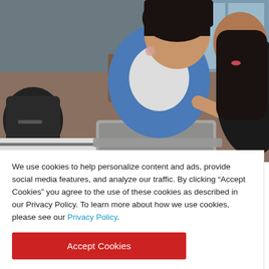[Figure (photo): Two young women at a cafe or workspace, one in a denim jacket pointing at a laptop screen, the other in a black outfit looking on. A bag and wooden furniture visible in the background.]
We use cookies to help personalize content and ads, provide social media features, and analyze our traffic. By clicking “Accept Cookies” you agree to the use of these cookies as described in our Privacy Policy. To learn more about how we use cookies, please see our Privacy Policy.
Accept Cookies